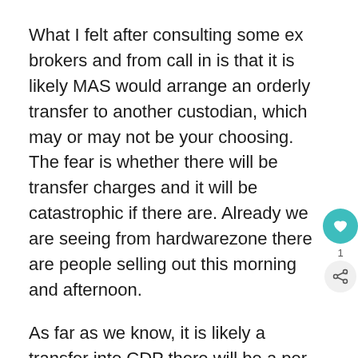What I felt after consulting some ex brokers and from call in is that it is likely MAS would arrange an orderly transfer to another custodian, which may or may not be your choosing.  The fear is whether there will be transfer charges and it will be catastrophic if there are. Already we are seeing from hardwarezone there are people selling out this morning and afternoon.
As far as we know, it is likely a transfer into CDP there will be a per counter charge and there shouldn't be a charge levied at SCB Online trading end.